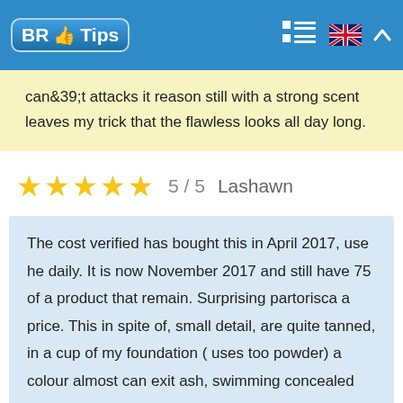BR Tips
can't attacks it reason still with a strong scent leaves my trick that the flawless looks all day long.
★★★★★ 5 / 5  Lashawn
The cost verified has bought this in April 2017, use he daily. It is now November 2017 and still have 75 of a product that remain. Surprising partorisca a price. This in spite of, small detail, are quite tanned, in a cup of my foundation ( uses too powder) a colour almost can exit ash, swimming concealed can not be fixed with dipping spray this